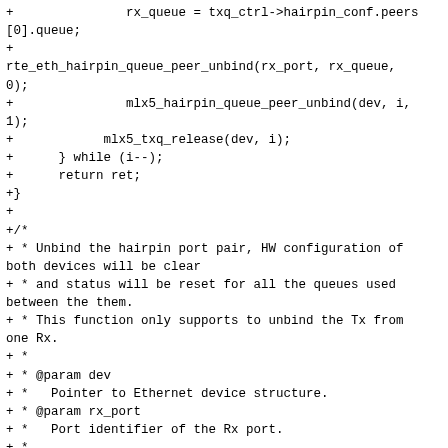+			rx_queue = txq_ctrl->hairpin_conf.peers[0].queue;
+
rte_eth_hairpin_queue_peer_unbind(rx_port, rx_queue, 0);
+			mlx5_hairpin_queue_peer_unbind(dev, i, 1);
+			mlx5_txq_release(dev, i);
+		} while (i--);
+		return ret;
+}
+
+/*
+ * Unbind the hairpin port pair, HW configuration of both devices will be clear
+ * and status will be reset for all the queues used between the them.
+ * This function only supports to unbind the Tx from one Rx.
+ *
+ * @param dev
+ *   Pointer to Ethernet device structure.
+ * @param rx_port
+ *   Port identifier of the Rx port.
+ *
+ * @return
+ *   0 on success, a negative errno value otherwise and rte_errno is set.
+ */
+static int